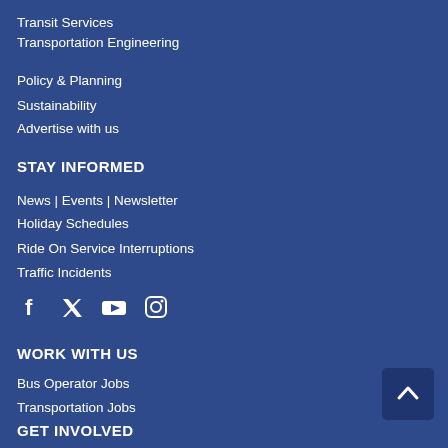Transit Services
Transportation Engineering
Policy & Planning
Sustainability
Advertise with us
STAY INFORMED
News | Events | Newsletter
Holiday Schedules
Ride On Service Interruptions
Traffic Incidents
[Figure (illustration): Social media icons: Facebook, Twitter, YouTube, Instagram]
WORK WITH US
Bus Operator Jobs
Transportation Jobs
GET INVOLVED